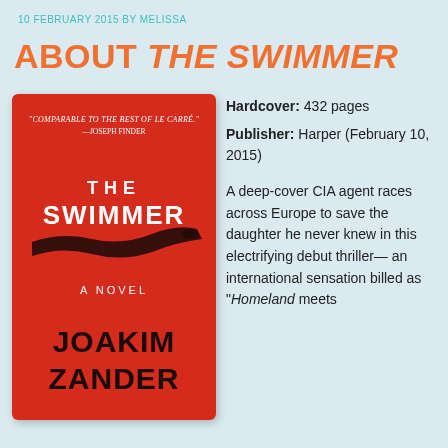10 FEBRUARY 2015 BY MELISSA
ABOUT THE SWIMMER
[Figure (illustration): Book cover of 'The Swimmer' by Joakim Zander. Red background with black swimmer silhouette/brush stroke. White text reads 'THE SWIMMER' and 'A NOVEL'. Black text at bottom reads 'JOAKIM ZANDER'. Top quote: 'COMPARABLE TO THE BEST OF LE CARRÉ.' —JOSEPH FINDER]
Hardcover: 432 pages
Publisher: Harper (February 10, 2015)

A deep-cover CIA agent races across Europe to save the daughter he never knew in this electrifying debut thriller— an international sensation billed as "Homeland meets